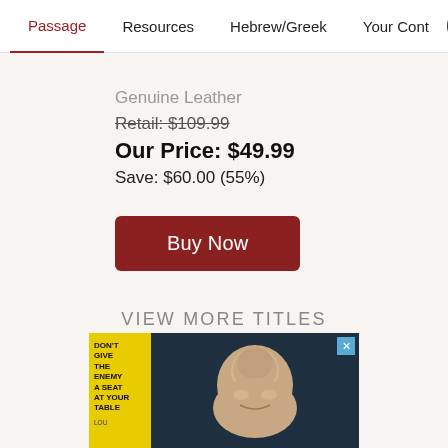Passage | Resources | Hebrew/Greek | Your Cont >
Genuine Leather
Retail: $109.99
Our Price: $49.99
Save: $60.00 (55%)
Buy Now
VIEW MORE TITLES
[Figure (photo): Advertisement banner showing a yellow book titled 'Don't Give the Enemy a Seat at Your Table' alongside a smiling bald man on a dark background]